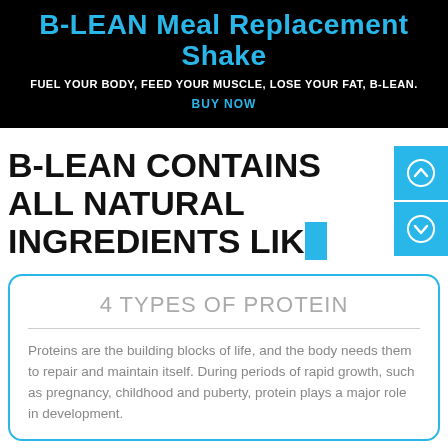B-LEAN Meal Replacement Shake
FUEL YOUR BODY, FEED YOUR MUSCLE, LOSE YOUR FAT, B-LEAN.
BUY NOW
B-LEAN CONTAINS ALL NATURAL INGREDIENTS LIKE
4 TYPES OF PROTEIN
Proteins are the building blocks of life, and the body needs them to repair and maintain itself. During periods of rapid growth, such as pregnancy, childhood and puberty, protein plays a major role in development.